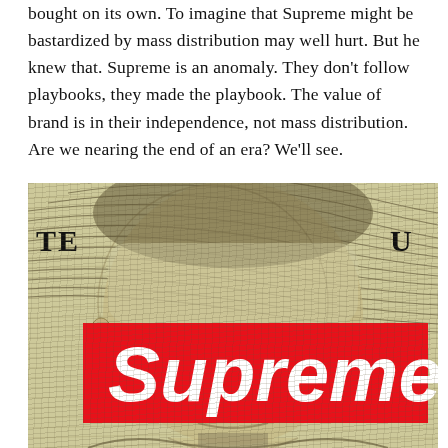bought on its own. To imagine that Supreme might be bastardized by mass distribution may well hurt. But he knew that. Supreme is an anomaly. They don't follow playbooks, they made the playbook. The value of brand is in their independence, not mass distribution. Are we nearing the end of an era? We'll see.
[Figure (illustration): Close-up of a US $100 bill showing Benjamin Franklin's face with the Supreme brand logo (red box with white italic text reading 'Supreme') overlaid across his eyes. Partial bill text 'TE' visible on left and 'U' on right.]